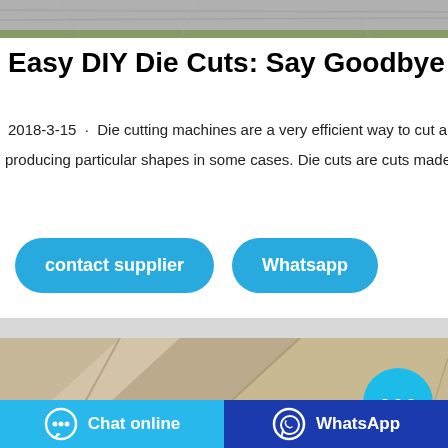[Figure (photo): Blurred gray/concrete surface at top of page]
Easy DIY Die Cuts: Say Goodbye to Yo
2018-3-15 · Die cutting machines are a very efficient way to cut all so producing particular shapes in some cases. Die cuts are cuts made us
[Figure (other): Contact supplier and Whatsapp buttons (blue rounded rectangles)]
[Figure (photo): Close-up of beige/tan geometric tile or paper cuts with diagonal lines]
[Figure (other): Chat online and WhatsApp bottom navigation buttons]